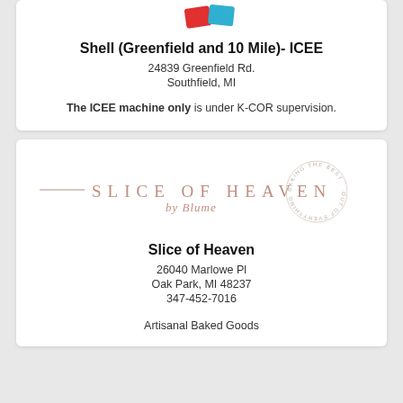[Figure (logo): Partial ICEE logo with red and blue shapes at top]
Shell (Greenfield and 10 Mile)- ICEE
24839 Greenfield Rd.
Southfield, MI
The ICEE machine only is under K-COR supervision.
[Figure (logo): Slice of Heaven by Blume bakery logo with horizontal lines and circular stamp reading BAKING THE BEST OUT OF EVERYTHING]
Slice of Heaven
26040 Marlowe Pl
Oak Park, MI 48237
347-452-7016
Artisanal Baked Goods